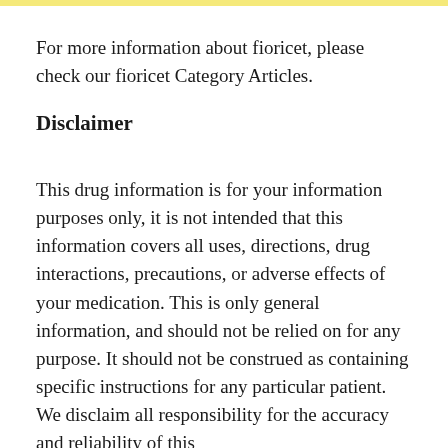For more information about fioricet, please check our fioricet Category Articles.
Disclaimer
This drug information is for your information purposes only, it is not intended that this information covers all uses, directions, drug interactions, precautions, or adverse effects of your medication. This is only general information, and should not be relied on for any purpose. It should not be construed as containing specific instructions for any particular patient. We disclaim all responsibility for the accuracy and reliability of this